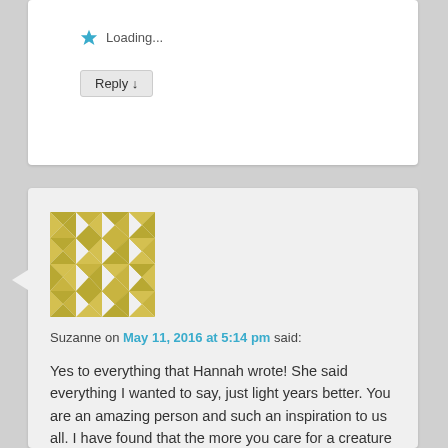Loading...
Reply ↓
Suzanne on May 11, 2016 at 5:14 pm said:
Yes to everything that Hannah wrote! She said everything I wanted to say, just light years better. You are an amazing person and such an inspiration to us all. I have found that the more you care for a creature that can't do for him/herself the more love there is. Love to you and Jake.
Loading...
Reply ↓